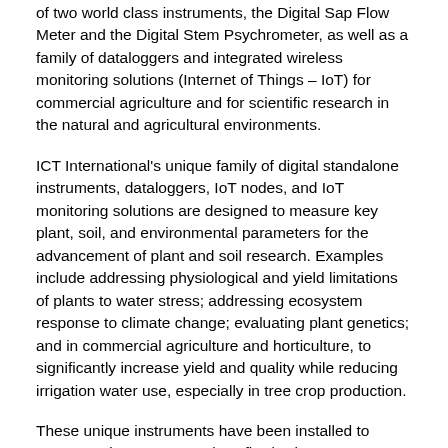of two world class instruments, the Digital Sap Flow Meter and the Digital Stem Psychrometer, as well as a family of dataloggers and integrated wireless monitoring solutions (Internet of Things – IoT) for commercial agriculture and for scientific research in the natural and agricultural environments.
ICT International's unique family of digital standalone instruments, dataloggers, IoT nodes, and IoT monitoring solutions are designed to measure key plant, soil, and environmental parameters for the advancement of plant and soil research. Examples include addressing physiological and yield limitations of plants to water stress; addressing ecosystem response to climate change; evaluating plant genetics; and in commercial agriculture and horticulture, to significantly increase yield and quality while reducing irrigation water use, especially in tree crop production.
These unique instruments have been installed to measure plant water use (sap flow), plant water potential (psychrometery), soil moisture and soil water potential, ambient and microclimate conditions (weather stations), water level and water quality in many locations across the world, including the Brazilian rainforests, Australia's Daintree Rainforest, the world's tallest trees in California, mine site rehabilitation in Australia